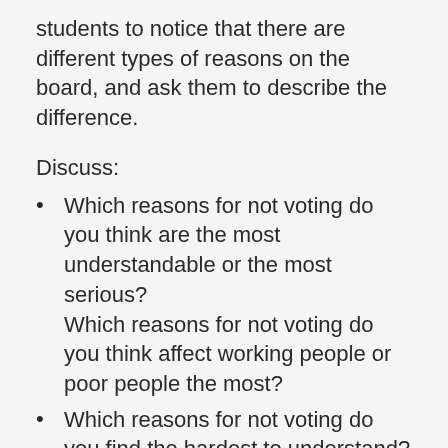students to notice that there are different types of reasons on the board, and ask them to describe the difference.
Discuss:
Which reasons for not voting do you think are the most understandable or the most serious? Which reasons for not voting do you think affect working people or poor people the most?
Which reasons for not voting do you find the hardest to understand?
When you look back at the history of Americans organizing and fighting for voting rights, how do you feel about these reasons for not voting?
What would need to change in this country